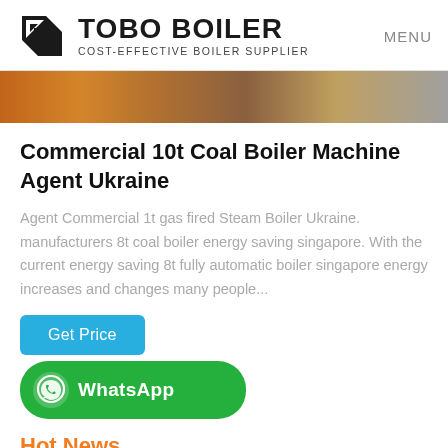TOBO BOILER COST-EFFECTIVE BOILER SUPPLIER  MENU
[Figure (photo): Partial view of industrial boiler equipment in orange/brown tones]
Commercial 10t Coal Boiler Machine Agent Ukraine
Agent Commercial 1t gas fired Steam Boiler Ukraine. manufacturers 8t coal boiler energy saving singapore. With the current energy saving 8t fully automatic boiler singapore energy increases and changes many people...
Get Price
WhatsApp
Hot News